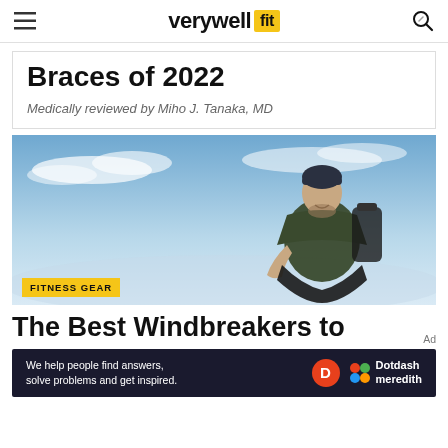verywell fit
Braces of 2022
Medically reviewed by Miho J. Tanaka, MD
[Figure (photo): Man with backpack sitting outdoors against a blue sky, smiling at the camera]
FITNESS GEAR
The Best Windbreakers to
We help people find answers, solve problems and get inspired. Dotdash meredith